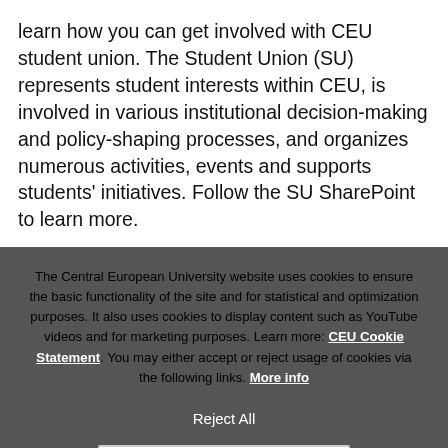learn how you can get involved with CEU student union. The Student Union (SU) represents student interests within CEU, is involved in various institutional decision-making and policy-shaping processes, and organizes numerous activities, events and supports students' initiatives. Follow the SU SharePoint to learn more.
The Central European University website uses cookies to ensure the basic functionality of the site and for statistical and optimization purposes. It also uses cookies to display content such as YouTube videos and for marketing purposes. Learn more: CEU Cookie Statement. You may either accept or reject usage of cookies via the following links. More info
Reject All
Accept and Continue